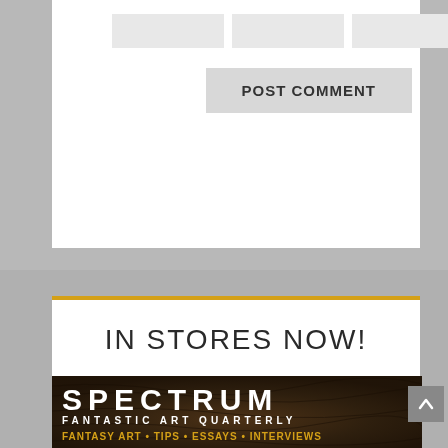[Figure (screenshot): Web page comment form area with three input fields and a POST COMMENT button on a white background]
POST COMMENT
[Figure (illustration): Spectrum Fantastic Art Quarterly magazine cover advertisement with gold separator line, IN STORES NOW! headline, and magazine cover image featuring a dark creature with white fur/tentacles and teeth, with SPECTRUM in large white letters, FANTASTIC ART QUARTERLY subtitle, and FANTASY ART • TIPS • ESSAYS • INTERVIEWS in yellow text]